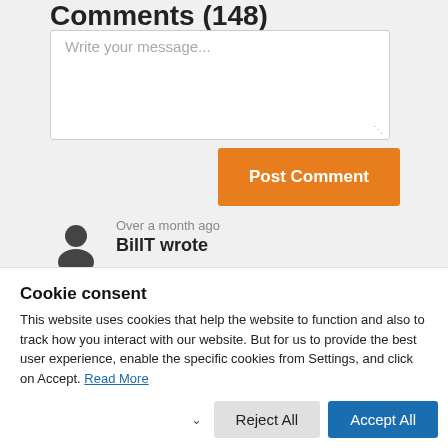Comments (148)
Write your message...
Post Comment
Over a month ago
BillT wrote
Cookie consent
This website uses cookies that help the website to function and also to track how you interact with our website. But for us to provide the best user experience, enable the specific cookies from Settings, and click on Accept. Read More
Reject All
Accept All